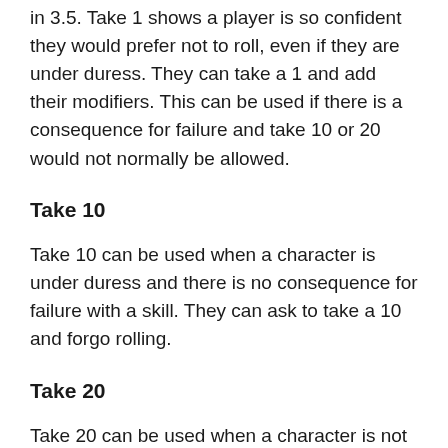in 3.5. Take 1 shows a player is so confident they would prefer not to roll, even if they are under duress. They can take a 1 and add their modifiers. This can be used if there is a consequence for failure and take 10 or 20 would not normally be allowed.
Take 10
Take 10 can be used when a character is under duress and there is no consequence for failure with a skill. They can ask to take a 10 and forgo rolling.
Take 20
Take 20 can be used when a character is not under duress and there is no consequence for failure. This saves the effort of a player rolling until they get the maximum possible result. This requires at a minimum